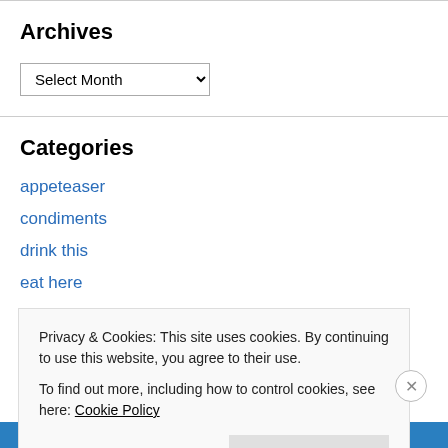Archives
Select Month
Categories
appeteaser
condiments
drink this
eat here
oh the things you'll see
ramblings
Privacy & Cookies: This site uses cookies. By continuing to use this website, you agree to their use.
To find out more, including how to control cookies, see here: Cookie Policy
Close and accept